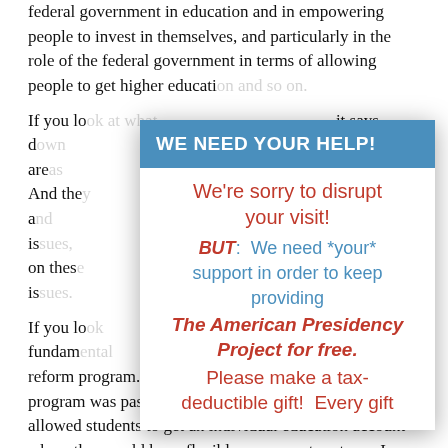federal government in education and in empowering people to invest in themselves, and particularly in the role of the federal government in terms of allowing people to get higher educati…
[Figure (other): A modal/popup overlay with blue header 'WE NEED YOUR HELP!' and body text in red and blue: 'We're sorry to disrupt your visit! BUT: We need *your* support in order to keep providing The American Presidency Project for free. Please make a tax-deductible gift! Every gift']
If you lo… it says, d… ys out six are… differen… lership. And the… ay down a… way on these is… honest nationa… with on thes… h in other is… nce.
If you lo… every fundam… he new student loan reform program. In 1993, the new student loan reform program was passed. It allowed for direct lending, and it allowed students to get an individual education account where they could have flexible repayment systems. I mean, it's